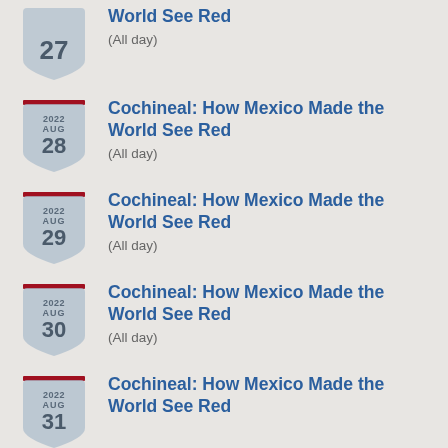27 — Cochineal: How Mexico Made the World See Red (All day)
2022 AUG 28 — Cochineal: How Mexico Made the World See Red (All day)
2022 AUG 29 — Cochineal: How Mexico Made the World See Red (All day)
2022 AUG 30 — Cochineal: How Mexico Made the World See Red (All day)
2022 AUG 31 — Cochineal: How Mexico Made the World See Red